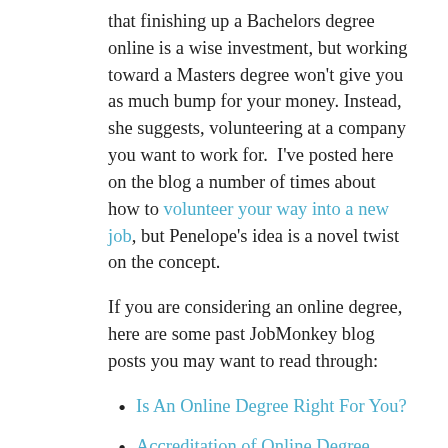that finishing up a Bachelors degree online is a wise investment, but working toward a Masters degree won't give you as much bump for your money. Instead, she suggests, volunteering at a company you want to work for.  I've posted here on the blog a number of times about how to volunteer your way into a new job, but Penelope's idea is a novel twist on the concept.
If you are considering an online degree, here are some past JobMonkey blog posts you may want to read through:
Is An Online Degree Right For You?
Accreditation of Online Degree Programs
Financial Aid for Distance Learners
Should you go back to school?